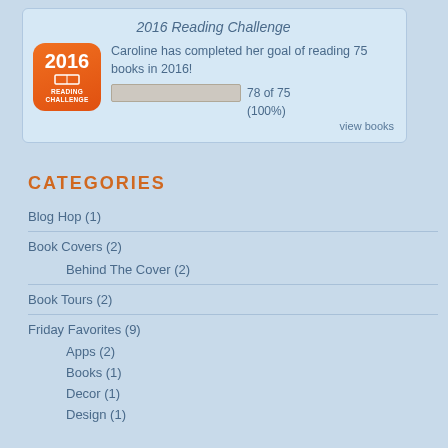2016 Reading Challenge
Caroline has completed her goal of reading 75 books in 2016!
78 of 75 (100%)
view books
CATEGORIES
Blog Hop (1)
Book Covers (2)
Behind The Cover (2)
Book Tours (2)
Friday Favorites (9)
Apps (2)
Books (1)
Decor (1)
Design (1)